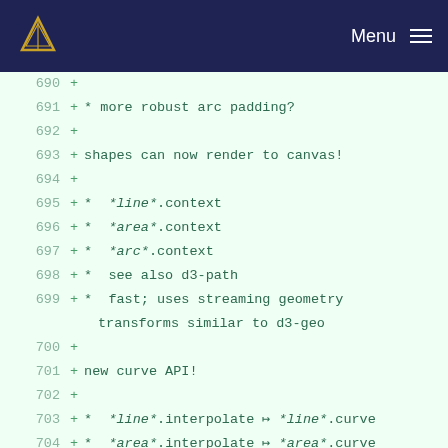Navigation bar with university logo and Menu
690  +
691  + * more robust arc padding?
692  +
693  + shapes can now render to canvas!
694  +
695  + *  *line*.context
696  + *  *area*.context
697  + *  *arc*.context
698  + *  see also d3-path
699  + *  fast; uses streaming geometry transforms similar to d3-geo
700  +
701  + new curve API!
702  +
703  + *  *line*.interpolate → *line*.curve
704  + *  *area*.interpolate → *area*.curve
705  + *  "basis" → d3.curveBasis
706  + *  "basis-closed" → d3.curveBasisClosed
707  + *  "basis-open" → d3.curveBasisOpen